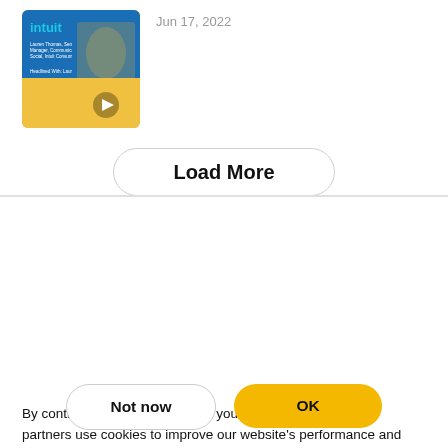[Figure (screenshot): Intuit podcast thumbnail with a woman in a pink blazer, intuit logo, and play button]
Jun 17, 2022
Load More
By continuing or choosing “OK”, you accept that we and our partners use cookies to improve our website's performance and provide you with a customized user experience, including by measuring website traffic and deliver ads that are more relevant to you and your interests. You can read more about the purposes for which we and our partners use cookies and manage your cookie settings by visiting our Cookie Policy. We have made some updates to our Cookie Policy. Please note that your continued use of the Acast service will be deemed an acceptance of this update.
Not now
OK